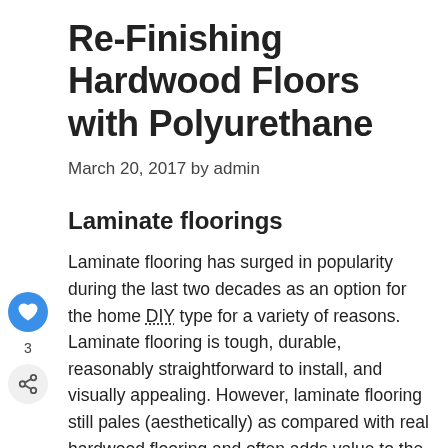Re-Finishing Hardwood Floors with Polyurethane
March 20, 2017 by admin
Laminate floorings
Laminate flooring has surged in popularity during the last two decades as an option for the home DIY type for a variety of reasons. Laminate flooring is tough, durable, reasonably straightforward to install, and visually appealing. However, laminate flooring still pales (aesthetically) as compared with real hardwood flooring and often adds value to the price of the house.